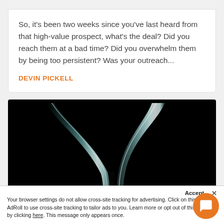So, it's been two weeks since you've last heard from that high-value prospect, what's the deal? Did you reach them at a bad time? Did you overwhelm them by being too persistent? Was your outreach...
DEVIN PICKELL
[Figure (photo): Dark background with a glowing funnel or Y-shaped metallic/glass form, showing two streams converging into one at the bottom.]
Accept  ×
Your browser settings do not allow cross-site tracking for advertising. Click on this to allow AdRoll to use cross-site tracking to tailor ads to you. Learn more or opt out of this Adv...ing by clicking here. This message only appears once.